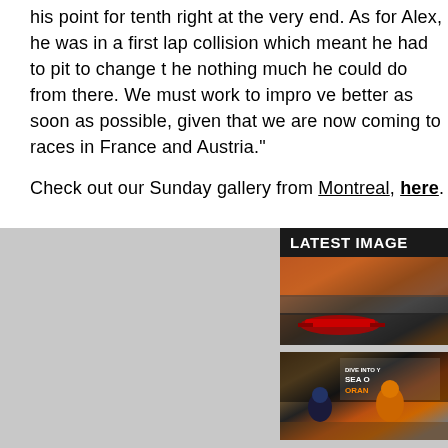his point for tenth right at the very end. As for Alex, he was in a first lap collision which meant he had to pit to change the nothing much he could do from there. We must work to improve better as soon as possible, given that we are now coming to races in France and Austria."
Check out our Sunday gallery from Montreal, here.
LATEST IMAGES
[Figure (photo): Formula 1 car on track with crowd of orange-clad fans in background]
[Figure (photo): People at F1 event with Sea of Orange signage visible]